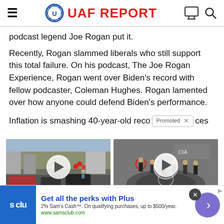UAF REPORT
podcast legend Joe Rogan put it.
Recently, Rogan slammed liberals who still support this total failure. On his podcast, The Joe Rogan Experience, Rogan went over Biden’s record with fellow podcaster, Coleman Hughes. Rogan lamented over how anyone could defend Biden’s performance.
Inflation is smashing 40-year-old reco...ces
[Figure (photo): Promotional video thumbnail showing a street scene with cars and people, with a play button overlay. Caption: Why You Need This]
[Figure (photo): Promotional video thumbnail showing men in suits standing in front of CIA emblem floor, with a play button overlay. Caption: Biden Probably Wants]
Why You Need This
Biden Probably Wants
Get all the perks with Plus
2% Sam’s Cash™. On qualifying purchases, up to $500/year.
www.samsclub.com